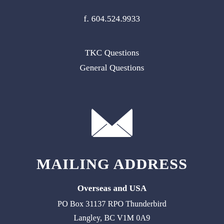f. 604.524.9933
TKC Questions
General Questions
[Figure (illustration): White envelope / mail icon on dark navy background]
MAILING ADDRESS
Overseas and USA
PO Box 31137 RPO Thunderbird
Langley, BC V1M 0A9
Canada